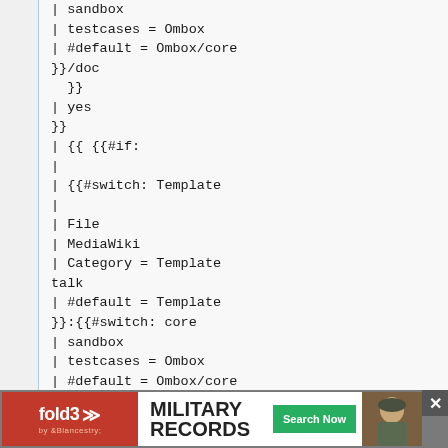| sandbox
| testcases = Ombox
| #default = Ombox/core
}}/doc
  }}
| yes
}}
| {{ {{#if:
|
| {{#switch: Template
|
| File
| MediaWiki
| Category = Template talk
| #default = Template
}}:{{#switch: core
| sandbox
| testcases = Ombox
| #default = Ombox/core
}}/doc
}} }}
}}
[Figure (other): Advertisement banner for Fold3 Military Records by Ancestry with a Search Now button and a photo of a soldier]